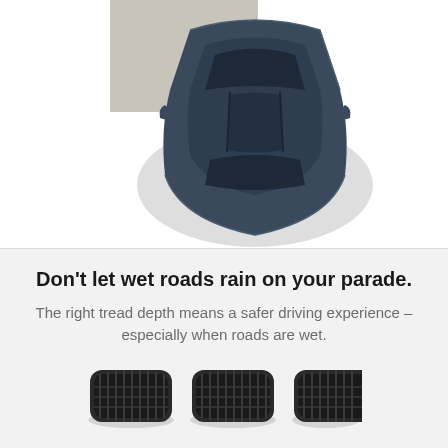[Figure (photo): Overhead aerial view of a dark navy/slate blue sedan car viewed from directly above, positioned on a light grey surface with a concrete road patch visible at top-left. The car shows its roof, windshield, rear window, and side mirrors.]
Don't let wet roads rain on your parade.
The right tread depth means a safer driving experience – especially when roads are wet.
[Figure (illustration): Three car tires shown side by side from the front view, displaying tread patterns. The tires are dark grey/black colored, each showing different tread depth levels.]